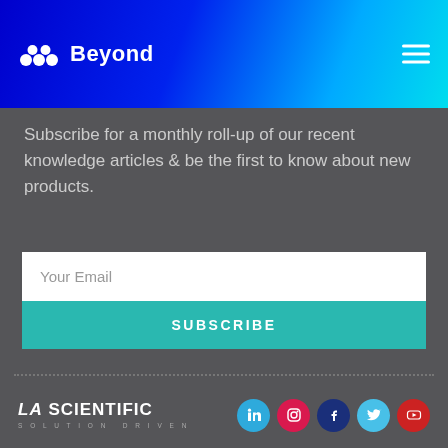Beyond — LA Scientific navigation header
Subscribe for a monthly roll-up of our recent knowledge articles & be the first to know about new products.
[Figure (screenshot): Email subscription form with 'Your Email' input field and teal 'SUBSCRIBE' button]
[Figure (logo): LA Scientific — Solution Driven logo with social media icons: LinkedIn, Instagram, Facebook, Twitter, YouTube]